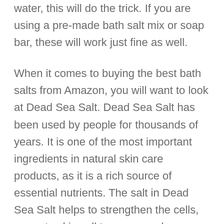water, this will do the trick. If you are using a pre-made bath salt mix or soap bar, these will work just fine as well.
When it comes to buying the best bath salts from Amazon, you will want to look at Dead Sea Salt. Dead Sea Salt has been used by people for thousands of years. It is one of the most important ingredients in natural skin care products, as it is a rich source of essential nutrients. The salt in Dead Sea Salt helps to strengthen the cells, promote skin cell turnover, and moisturize skin. Dead Sea